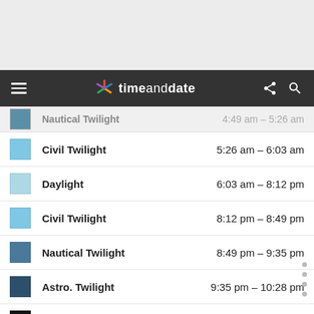timeanddate navigation bar
Nautical Twilight — 4:49 am – 5:26 am (partial)
Civil Twilight — 5:26 am – 6:03 am
Daylight — 6:03 am – 8:12 pm
Civil Twilight — 8:12 pm – 8:49 pm
Nautical Twilight — 8:49 pm – 9:35 pm
Astro. Twilight — 9:35 pm – 10:28 pm
Night — 10:28 pm – 11:59 pm
Sun in Tempelhof - Next 7 Days
Scroll right to see more